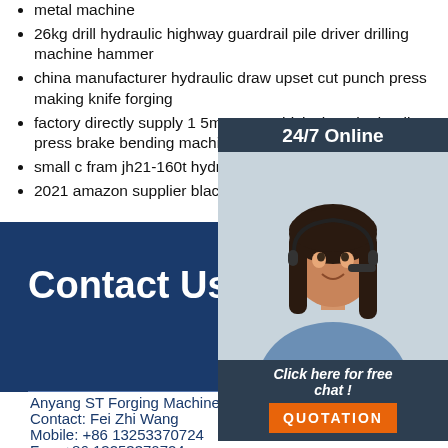metal machine
26kg drill hydraulic highway guardrail pile driver drilling machine hammer
china manufacturer hydraulic draw upset cut punch press making knife forging
factory directly supply 1 5mm 2mm thick sheet hydraulic press brake bending machine
small c fram jh21-160t hydraulic press machine certificate
2021 amazon supplier blacksmith press punch
[Figure (photo): Customer service representative wearing headset, smiling. Shown in a chat widget with dark blue/slate background. Header reads '24/7 Online', bottom reads 'Click here for free chat!' with an orange QUOTATION button.]
Contact Us
Anyang ST Forging Machinery
Contact: Fei Zhi Wang
Mobile: +86 13253370724
Fax: +86 13253370724
[Figure (logo): Orange TOP logo with circular dot pattern above the letters TOP in orange on white background, bottom right of page]